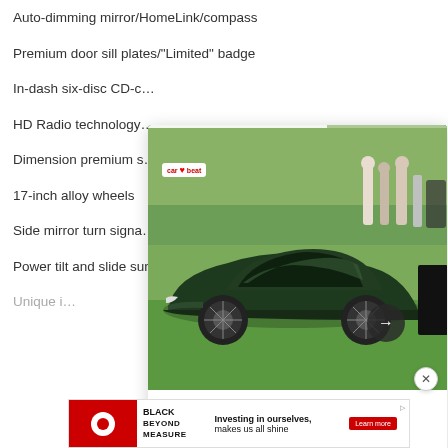Auto-dimming mirror/HomeLink/compass
Premium door sill plates/"Limited" badge
In-dash six-disc CD-c…
HD Radio technology…
Dimension premium s…
17-inch alloy wheels
Side mirror turn signa…
Power tilt and slide sunroof
Unique i…
[Figure (photo): A sleek dark green luxury/concept car on a grass surface with people in the background, shown in a popup overlay panel with a progress bar at top and a logo badge in corner. Arrow navigation button visible.]
[Figure (other): Target 'Black Beyond Measure' advertisement banner: Investing in ourselves, makes us all shine. With Learn more button.]